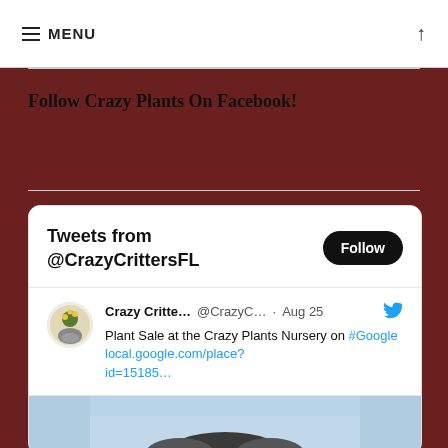≡ MENU ↑
Follow Crazy Plants On Facebook!
[Figure (screenshot): Twitter widget showing Tweets from @CrazyCrittersFL with a Follow button. A tweet from Crazy Critte... @CrazyC... · Aug 25 reads: Plant Sale at the Crazy Plants Nursery on #Google local.google.com/place?id=15185… with a partial image below.]